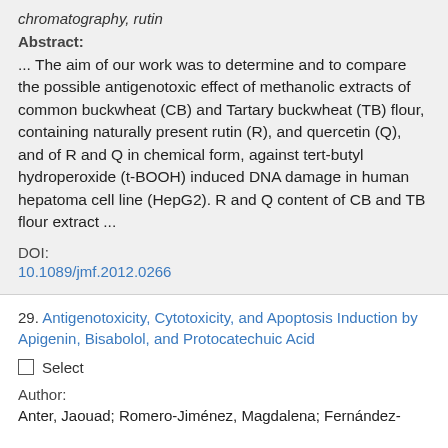chromatography, rutin
Abstract:
... The aim of our work was to determine and to compare the possible antigenotoxic effect of methanolic extracts of common buckwheat (CB) and Tartary buckwheat (TB) flour, containing naturally present rutin (R), and quercetin (Q), and of R and Q in chemical form, against tert-butyl hydroperoxide (t-BOOH) induced DNA damage in human hepatoma cell line (HepG2). R and Q content of CB and TB flour extract ...
DOI:
10.1089/jmf.2012.0266
29. Antigenotoxicity, Cytotoxicity, and Apoptosis Induction by Apigenin, Bisabolol, and Protocatechuic Acid
Select
Author:
Anter, Jaouad; Romero-Jiménez, Magdalena; Fernández-